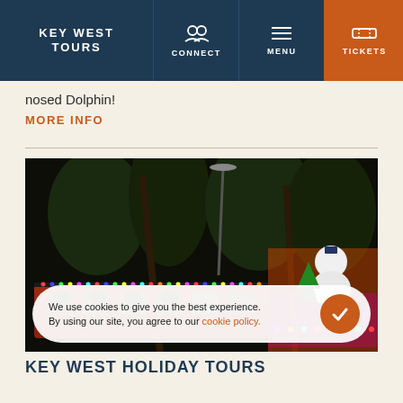KEY WEST TOURS | CONNECT | MENU | TICKETS
nosed Dolphin!
MORE INFO
[Figure (photo): Night photo of a Key West trolley decorated with colorful Christmas lights, palm trees in background, snowman decoration visible, cookie consent banner overlay.]
We use cookies to give you the best experience. By using our site, you agree to our cookie policy.
KEY WEST HOLIDAY TOURS